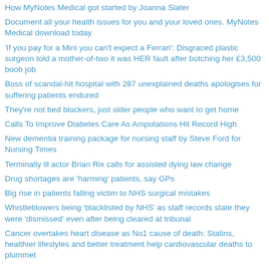How MyNotes Medical got started by Joanna Slater
Document all your health issues for you and your loved ones. MyNotes Medical download today
'If you pay for a Mini you can't expect a Ferrari': Disgraced plastic surgeon told a mother-of-two it was HER fault after botching her £3,500 boob job
Boss of scandal-hit hospital with 287 unexplained deaths apologises for suffering patients endured
They're not bed blockers, just older people who want to get home
Calls To Improve Diabetes Care As Amputations Hit Record High
New dementia training package for nursing staff by Steve Ford for Nursing Times
Terminally ill actor Brian Rix calls for assisted dying law change
Drug shortages are 'harming' patients, say GPs
Big rise in patients falling victim to NHS surgical mistakes
Whistleblowers being 'blacklisted by NHS' as staff records state they were 'dismissed' even after being cleared at tribunal
Cancer overtakes heart disease as No1 cause of death: Statins, healthier lifestyles and better treatment help cardiovascular deaths to plummet